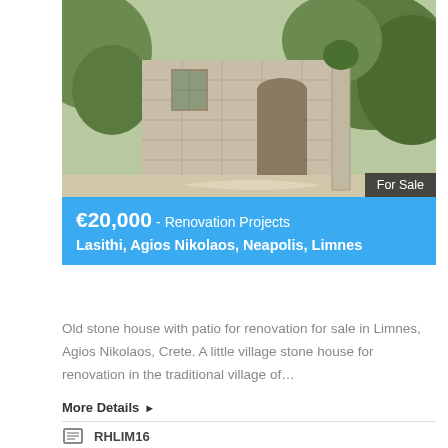[Figure (photo): Old stone house with patio in a traditional Greek village, surrounded by greenery and stone walls, with 'For Sale' badge in bottom-right corner]
€20,000 - Renovation Projects
Lasithi, Agios Nikolaos, Neapolis, Limnes
Old stone house with patio for renovation for sale in Limnes, Agios Nikolaos, Crete. A little village stone house for renovation in the traditional village of…
More Details ▶
RHLIM16
60 m2
Plot size: 78 m2